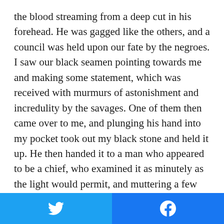the blood streaming from a deep cut in his forehead. He was gagged like the others, and a council was held upon our fate by the negroes. I saw our black seamen pointing towards me and making some statement, which was received with murmurs of astonishment and incredulity by the savages. One of them then came over to me, and plunging his hand into my pocket took out my black stone and held it up. He then handed it to a man who appeared to be a chief, who examined it as minutely as the light would permit, and muttering a few words passed it on to the warrior beside him, who also scrutinised it and passed it on until it had gone from hand to hand round the whole circle. The chief then said a few words to Goring in the native tongue, on which the quadroon addressed me in
[Figure (other): Social sharing buttons: Twitter (blue) and Facebook (blue) side by side at the bottom of the page]